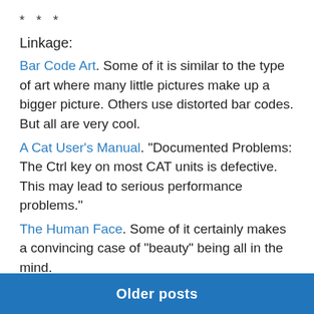* * *
Linkage:
Bar Code Art. Some of it is similar to the type of art where many little pictures make up a bigger picture. Others use distorted bar codes. But all are very cool.
A Cat User's Manual. “Documented Problems: The Ctrl key on most CAT units is defective. This may lead to serious performance problems.”
The Human Face. Some of it certainly makes a convincing case of “beauty” being all in the mind.
June 27, 2003   Leave a Reply
Older posts